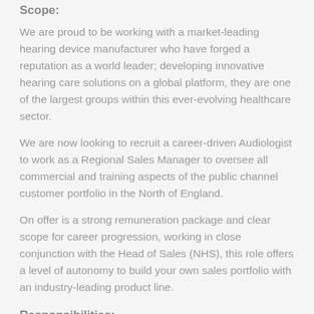Scope:
We are proud to be working with a market-leading hearing device manufacturer who have forged a reputation as a world leader; developing innovative hearing care solutions on a global platform, they are one of the largest groups within this ever-evolving healthcare sector.
We are now looking to recruit a career-driven Audiologist to work as a Regional Sales Manager to oversee all commercial and training aspects of the public channel customer portfolio in the North of England.
On offer is a strong remuneration package and clear scope for career progression, working in close conjunction with the Head of Sales (NHS), this role offers a level of autonomy to build your own sales portfolio with an industry-leading product line.
Responsibilities: